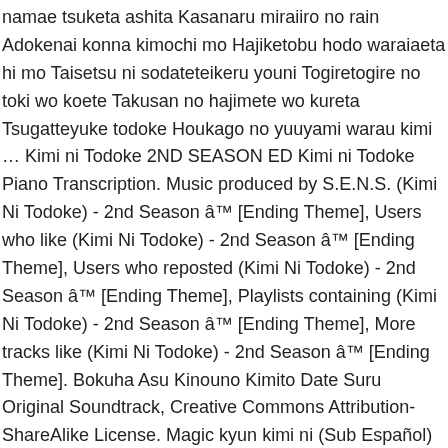namae tsuketa ashita Kasanaru miraiiro no rain Adokenai konna kimochi mo Hajiketobu hodo waraiaeta hi mo Taisetsu ni sodateteikeru youni Togiretogire no toki wo koete Takusan no hajimete wo kureta Tsugatteyuke todoke Houkago no yuuyami warau kimi … Kimi ni Todoke 2ND SEASON ED Kimi ni Todoke Piano Transcription. Music produced by S.E.N.S. (Kimi Ni Todoke) - 2nd Season â™ [Ending Theme], Users who like (Kimi Ni Todoke) - 2nd Season â™ [Ending Theme], Users who reposted (Kimi Ni Todoke) - 2nd Season â™ [Ending Theme], Playlists containing (Kimi Ni Todoke) - 2nd Season â™ [Ending Theme], More tracks like (Kimi Ni Todoke) - 2nd Season â™ [Ending Theme]. Bokuha Asu Kinouno Kimito Date Suru Original Soundtrack, Creative Commons Attribution-ShareAlike License. Magic kyun kimi ni (Sub Español)